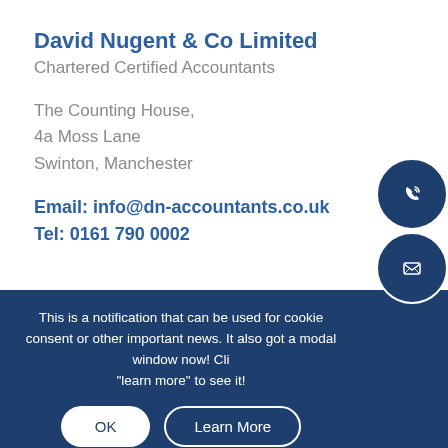David Nugent & Co Limited
Chartered Certified Accountants
The Counting House,
4a Moss Lane
Swinton, Manchester
Email: info@dn-accountants.co.uk
Tel: 0161 790 0002
This is a notification that can be used for cookie consent or other important news. It also got a modal window now! Click "learn more" to see it!